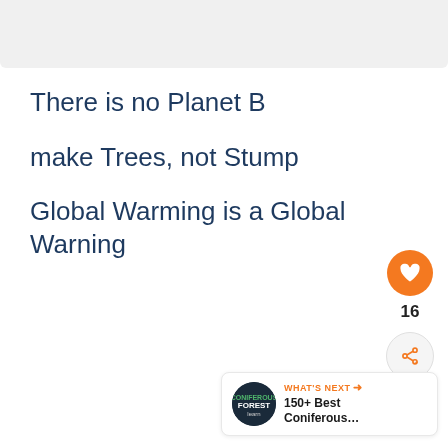[Figure (other): Gray top banner / header image area]
There is no Planet B
make Trees, not Stump
Global Warming is a Global Warning
[Figure (infographic): Orange heart like button with count 16 and share button]
[Figure (infographic): What's Next banner showing 150+ Best Coniferous... with dark circular logo]